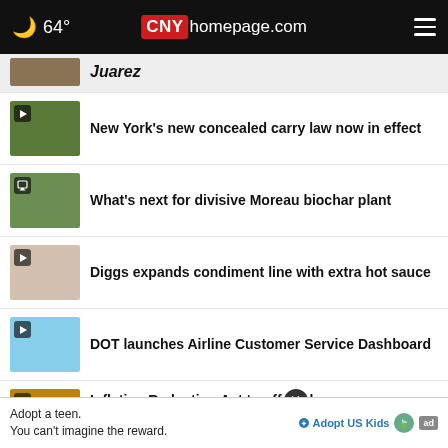64° CNYhomepage.com
Juarez
New York's new concealed carry law now in effect
What's next for divisive Moreau biochar plant
Diggs expands condiment line with extra hot sauce
DOT launches Airline Customer Service Dashboard
Inflation Reduction Act to off home energy rebates
Adopt a teen. You can't imagine the reward.